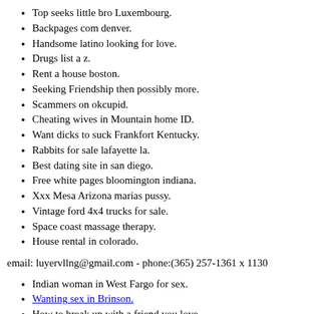Top seeks little bro Luxembourg.
Backpages com denver.
Handsome latino looking for love.
Drugs list a z.
Rent a house boston.
Seeking Friendship then possibly more.
Scammers on okcupid.
Cheating wives in Mountain home ID.
Want dicks to suck Frankfort Kentucky.
Rabbits for sale lafayette la.
Best dating site in san diego.
Free white pages bloomington indiana.
Xxx Mesa Arizona marias pussy.
Vintage ford 4x4 trucks for sale.
Space coast massage therapy.
House rental in colorado.
email: luyervllng@gmail.com - phone:(365) 257-1361 x 1130
Indian woman in West Fargo for sex.
Wanting sex in Brinson.
How to break up with a friend you love.
Sexy ladies asses.
Afternoon fun with a huge dick.
Brooklyn boulders somerville living social.